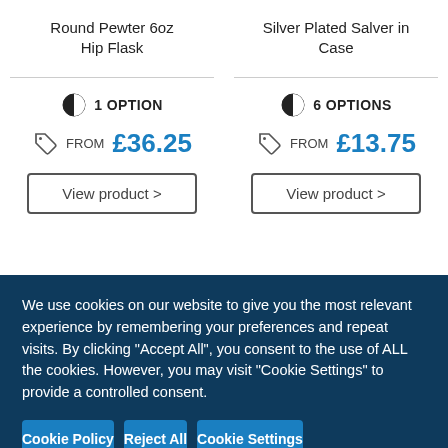Round Pewter 6oz Hip Flask
Silver Plated Salver in Case
1 OPTION
FROM £36.25
View product >
6 OPTIONS
FROM £13.75
View product >
We use cookies on our website to give you the most relevant experience by remembering your preferences and repeat visits. By clicking "Accept All", you consent to the use of ALL the cookies. However, you may visit "Cookie Settings" to provide a controlled consent.
Cookie Policy
Reject All
Cookie Settings
Accept All